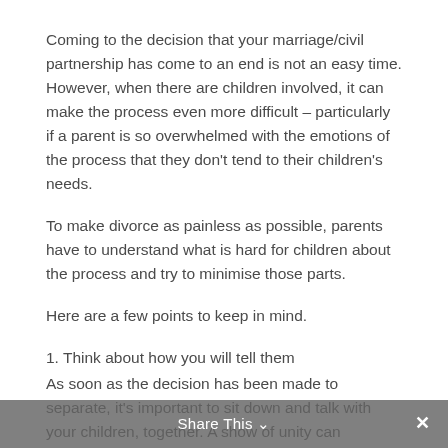Coming to the decision that your marriage/civil partnership has come to an end is not an easy time. However, when there are children involved, it can make the process even more difficult – particularly if a parent is so overwhelmed with the emotions of the process that they don't tend to their children's needs.
To make divorce as painless as possible, parents have to understand what is hard for children about the process and try to minimise those parts.
Here are a few points to keep in mind.
1. Think about how you will tell them
As soon as the decision has been made to separate, it's important to sit down and talk with your children, together. A show of unity can reassure the children that you're both still their parents, even if you have decided you would be happier apart. Consider how you
Share This ∨